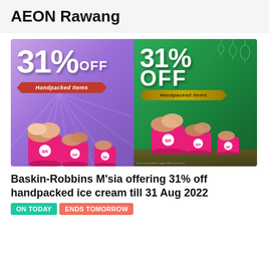AEON Rawang
[Figure (illustration): Two Baskin-Robbins promotional banners side by side showing 31% OFF on Handpacked Items. Left banner has a purple/lavender background with white '31% OFF' text, a red ribbon banner reading 'Handpacked Items', and three pink Baskin-Robbins ice cream tubs. Right banner has a green background with white '31% OFF' text, a gold ribbon banner reading 'Handpacked Items', and three pink Baskin-Robbins ice cream tubs.]
Baskin-Robbins M'sia offering 31% off handpacked ice cream till 31 Aug 2022
ON TODAY
ENDS TOMORROW